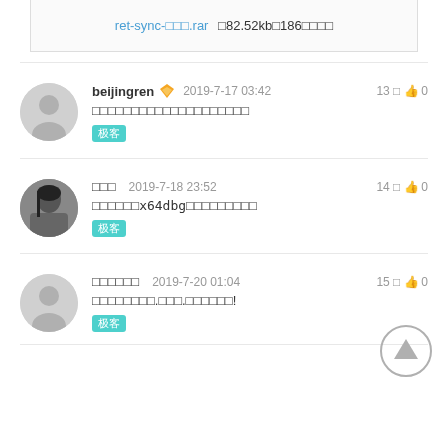ret-sync-□□□.rar □82.52kb□186□□□□
beijingren □ 2019-7-17 03:42  13□ 👍 0
□□□□□□□□□□□□□□□□□□□□
极客
□□□  2019-7-18 23:52  14□ 👍 0
□□□□□□x64dbg□□□□□□□□□
极客
□□□□□□  2019-7-20 01:04  15□ 👍 0
□□□□□□□□.□□□.□□□□□□!
极客